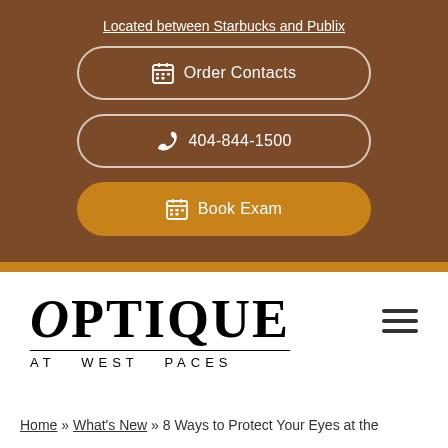Located between Starbucks and Publix
Order Contacts
404-844-1500
Book Exam
[Figure (logo): Optique at West Paces logo with serif font and horizontal rule]
Home » What's New » 8 Ways to Protect Your Eyes at the